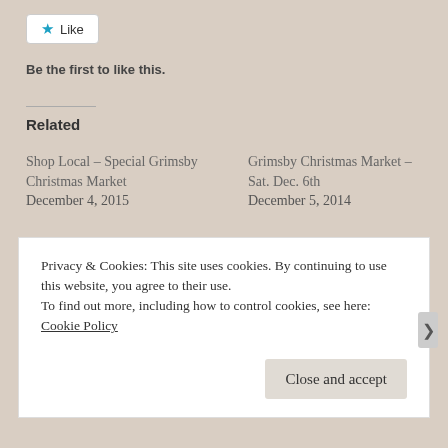[Figure (other): Like button — white rounded rectangle with blue star icon and 'Like' text]
Be the first to like this.
Related
Shop Local – Special Grimsby Christmas Market
December 4, 2015
Grimsby Christmas Market – Sat. Dec. 6th
December 5, 2014
2,000 Hits!!!!
November 27, 2012
With 1 comment
Privacy & Cookies: This site uses cookies. By continuing to use this website, you agree to their use.
To find out more, including how to control cookies, see here: Cookie Policy
Close and accept